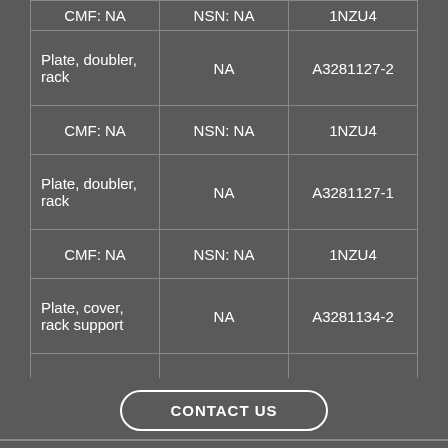| Item | NSN | Part Number |
| --- | --- | --- |
| CMF: NA | NSN: NA | 1NZU4 |
| Plate, doubler, rack | NA | A3281127-2 |
| CMF: NA | NSN: NA | 1NZU4 |
| Plate, doubler, rack | NA | A3281127-1 |
| CMF: NA | NSN: NA | 1NZU4 |
| Plate, cover, rack support | NA | A3281134-2 |
CONTACT US
732-938-6900   info@centralmetalfab.com